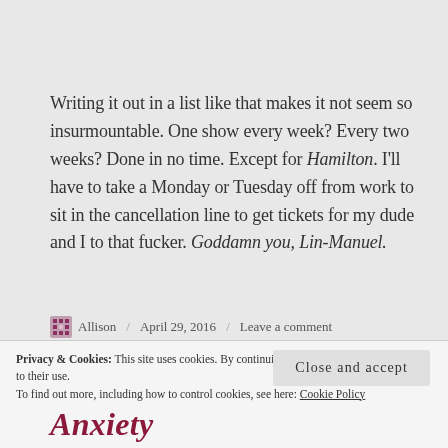Writing it out in a list like that makes it not seem so insurmountable. One show every week? Every two weeks? Done in no time. Except for Hamilton. I'll have to take a Monday or Tuesday off from work to sit in the cancellation line to get tickets for my dude and I to that fucker. Goddamn you, Lin-Manuel.
Allison / April 29, 2016 / Leave a comment
Privacy & Cookies: This site uses cookies. By continuing to use this website, you agree to their use. To find out more, including how to control cookies, see here: Cookie Policy
Close and accept
Anxiety